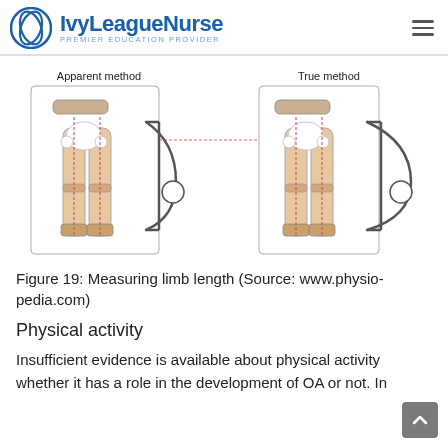IvyLeagueNurse — PREMIER EDUCATION PROVIDER
[Figure (illustration): Medical diagram showing two methods of measuring limb length: 'Apparent method' (left) and 'True method' (right). Each shows a person's lower body with legs and pelvis, with measurement lines and a tape measure device illustrated.]
Figure 19: Measuring limb length (Source: www.physio-pedia.com)
Physical activity
Insufficient evidence is available about physical activity whether it has a role in the development of OA or not. In